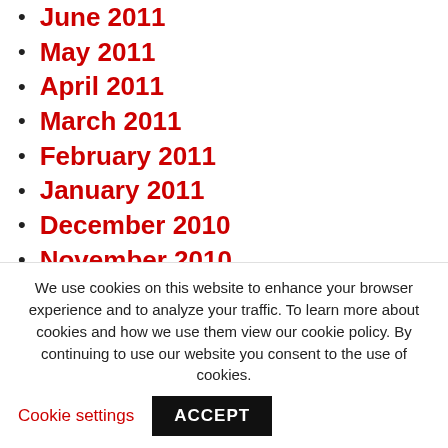June 2011
May 2011
April 2011
March 2011
February 2011
January 2011
December 2010
November 2010
October 2010
September 2010
August 2010
July 2010
We use cookies on this website to enhance your browser experience and to analyze your traffic. To learn more about cookies and how we use them view our cookie policy. By continuing to use our website you consent to the use of cookies.
Cookie settings
ACCEPT